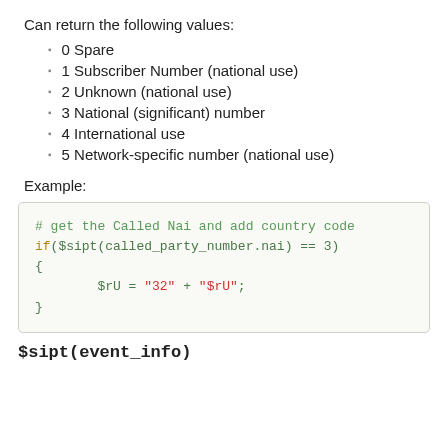Can return the following values:
0 Spare
1 Subscriber Number (national use)
2 Unknown (national use)
3 National (significant) number
4 International use
5 Network-specific number (national use)
Example:
[Figure (screenshot): Code block showing: # get the Called Nai and add country code
if($sipt(called_party_number.nai) == 3)
{
        $rU = "32" + "$rU";
}]
$sipt(event_info)